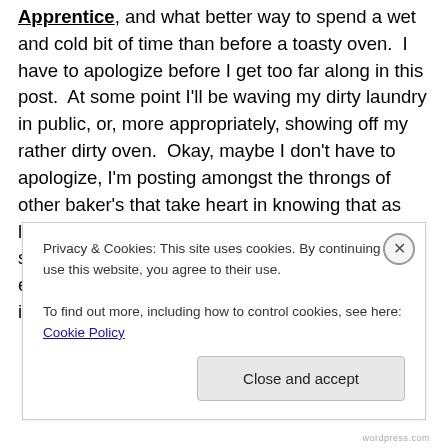Apprentice, and what better way to spend a wet and cold bit of time than before a toasty oven.  I have to apologize before I get too far along in this post.  At some point I'll be waving my dirty laundry in public, or, more appropriately, showing off my rather dirty oven.  Okay, maybe I don't have to apologize, I'm posting amongst the throngs of other baker's that take heart in knowing that as long as an appliance is behaving, there is no shame in a bit of grease and grime, and especially if it proves baked on and sterile.  Such is the case in my home, this day, and on this
Privacy & Cookies: This site uses cookies. By continuing to use this website, you agree to their use.
To find out more, including how to control cookies, see here: Cookie Policy
Close and accept